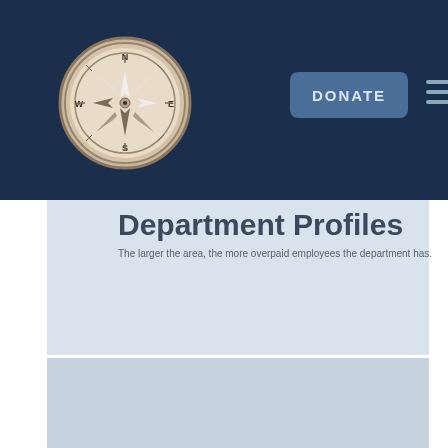DONATE
[Figure (illustration): Compass logo/icon in navy header bar]
Department Profiles
The larger the area, the more overpaid employees the department has.